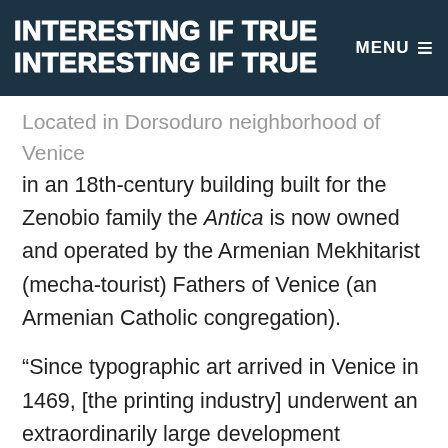INTERESTING IF TRUE INTERESTING IF TRUE MENU ≡
Located in Dorsoduro neighborhood of Venice in an 18th-century building built for the Zenobio family the Antica is now owned and operated by the Armenian Mekhitarist (mecha-tourist) Fathers of Venice (an Armenian Catholic congregation).
“Since typographic art arrived in Venice in 1469, [the printing industry] underwent an extraordinarily large development because of the features of the lagoon city,” explained Father... [continues]